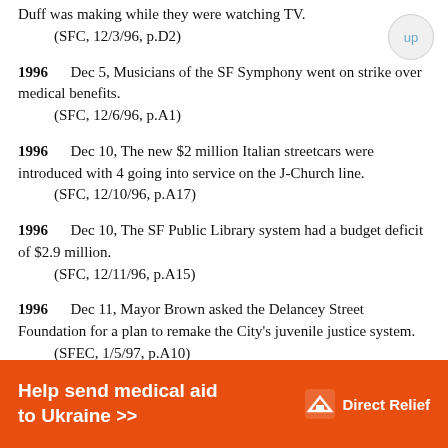Duff was making while they were watching TV.
    (SFC, 12/3/96, p.D2)
1996    Dec 5, Musicians of the SF Symphony went on strike over medical benefits.
    (SFC, 12/6/96, p.A1)
1996    Dec 10, The new $2 million Italian streetcars were introduced with 4 going into service on the J-Church line.
    (SFC, 12/10/96, p.A17)
1996    Dec 10, The SF Public Library system had a budget deficit of $2.9 million.
    (SFC, 12/11/96, p.A15)
1996    Dec 11, Mayor Brown asked the Delancey Street Foundation for a plan to remake the City's juvenile justice system.
    (SFEC, 1/5/97, p.A10)
1996    Dec 16, The Giants and the City
[Figure (infographic): Orange advertisement banner: 'Help send medical aid to Ukraine >>' with Direct Relief logo]